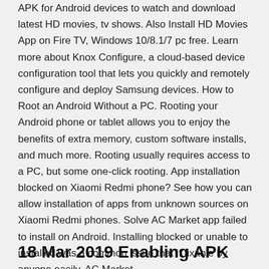APK for Android devices to watch and download latest HD movies, tv shows. Also Install HD Movies App on Fire TV, Windows 10/8.1/7 pc free. Learn more about Knox Configure, a cloud-based device configuration tool that lets you quickly and remotely configure and deploy Samsung devices. How to Root an Android Without a PC. Rooting your Android phone or tablet allows you to enjoy the benefits of extra memory, custom software installs, and much more. Rooting usually requires access to a PC, but some one-click rooting. App installation blocked on Xiaomi Redmi phone? See how you can allow installation of apps from unknown sources on Xiaomi Redmi phones. Solve AC Market app failed to install on Android. Installing blocked or unable to installed was a common issue that if fixable by anyone easily. AC Market.
18 Mar 2019 Enabling APK